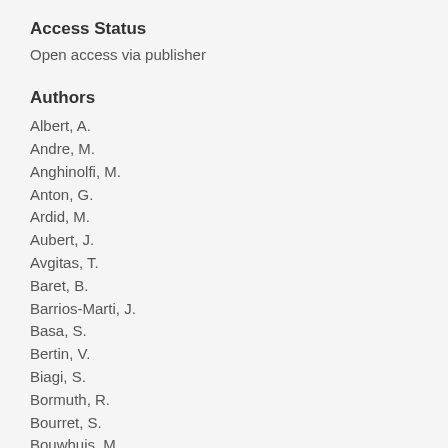Access Status
Open access via publisher
Authors
Albert, A.
Andre, M.
Anghinolfi, M.
Anton, G.
Ardid, M.
Aubert, J.
Avgitas, T.
Baret, B.
Barrios-Marti, J.
Basa, S.
Bertin, V.
Biagi, S.
Bormuth, R.
Bourret, S.
Bouwhuis, M.
Bruijn, R.